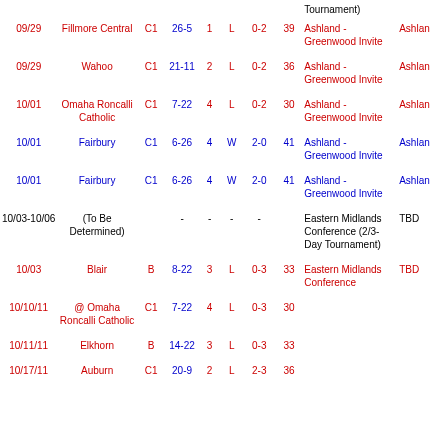| Date | Opponent | Cls | Score | Gm | W/L | Rec | Pts | Tournament | Location |
| --- | --- | --- | --- | --- | --- | --- | --- | --- | --- |
| 09/29 | Fillmore Central | C1 | 26-5 | 1 | L | 0-2 | 39 | Ashland - Greenwood Invite | Ashland |
| 09/29 | Wahoo | C1 | 21-11 | 2 | L | 0-2 | 36 | Ashland - Greenwood Invite | Ashland |
| 10/01 | Omaha Roncalli Catholic | C1 | 7-22 | 4 | L | 0-2 | 30 | Ashland - Greenwood Invite | Ashland |
| 10/01 | Fairbury | C1 | 6-26 | 4 | W | 2-0 | 41 | Ashland - Greenwood Invite | Ashland |
| 10/01 | Fairbury | C1 | 6-26 | 4 | W | 2-0 | 41 | Ashland - Greenwood Invite | Ashland |
| 10/03-10/06 | (To Be Determined) |  | - | - | - | - |  | Eastern Midlands Conference (2/3-Day Tournament) | TBD |
| 10/03 | Blair | B | 8-22 | 3 | L | 0-3 | 33 | Eastern Midlands Conference | TBD |
| 10/10/11 | @ Omaha Roncalli Catholic | C1 | 7-22 | 4 | L | 0-3 | 30 |  |  |
| 10/11/11 | Elkhorn | B | 14-22 | 3 | L | 0-3 | 33 |  |  |
| 10/17/11 | Auburn | C1 | 20-9 | 2 | L | 2-3 | 36 |  |  |